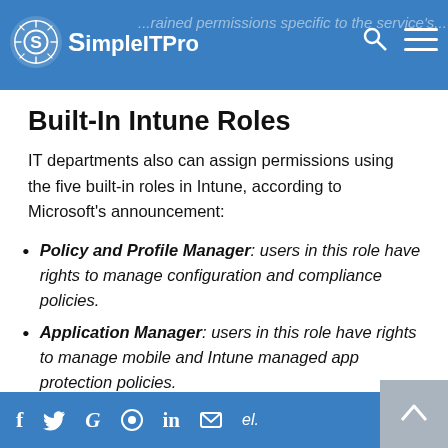SimpleITPro — ...rained permissions specific to the service's...
Built-In Intune Roles
IT departments also can assign permissions using the five built-in roles in Intune, according to Microsoft's announcement:
Policy and Profile Manager: users in this role have rights to manage configuration and compliance policies.
Application Manager: users in this role have rights to manage mobile and Intune managed app protection policies.
Helpdesk Operator: users in this role have rights to manage tasks appropriate for end-user service desk [el].
Social icons: f  Twitter  G  Pinterest  in  Email  | el.